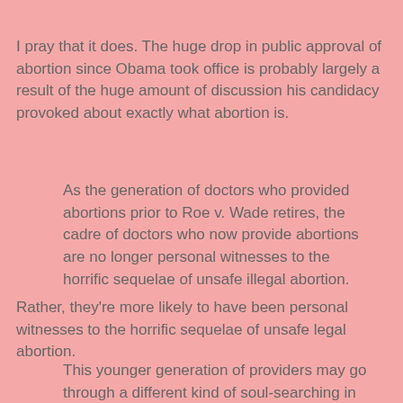I pray that it does. The huge drop in public approval of abortion since Obama took office is probably largely a result of the huge amount of discussion his candidacy provoked about exactly what abortion is.
As the generation of doctors who provided abortions prior to Roe v. Wade retires, the cadre of doctors who now provide abortions are no longer personal witnesses to the horrific sequelae of unsafe illegal abortion.
Rather, they're more likely to have been personal witnesses to the horrific sequelae of unsafe legal abortion.
This younger generation of providers may go through a different kind of soul-searching in